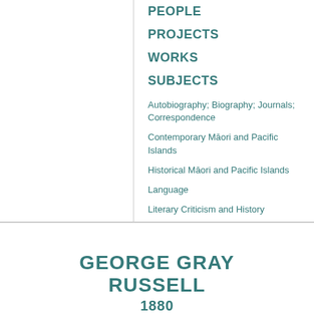PEOPLE
PROJECTS
WORKS
SUBJECTS
Autobiography; Biography; Journals; Correspondence
Contemporary Māori and Pacific Islands
Historical Māori and Pacific Islands
Language
Literary Criticism and History
Literature
New Zealand History
Science and Natural History
GEORGE GRAY RUSSELL